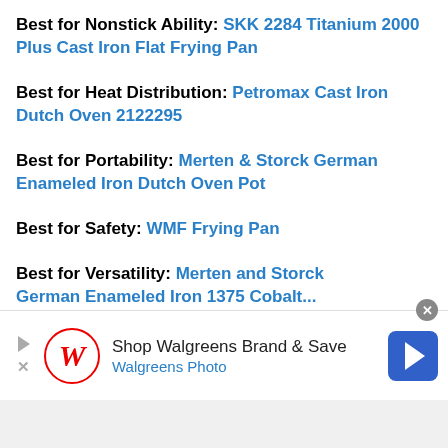Best for Nonstick Ability: SKK 2284 Titanium 2000 Plus Cast Iron Flat Frying Pan
Best for Heat Distribution: Petromax Cast Iron Dutch Oven 2122295
Best for Portability: Merten & Storck German Enameled Iron Dutch Oven Pot
Best for Safety: WMF Frying Pan
Best for Versatility: Merten and Storck German Enameled Iron 1375 Cobalt...
[Figure (screenshot): Walgreens advertisement banner: Shop Walgreens Brand & Save, Walgreens Photo]